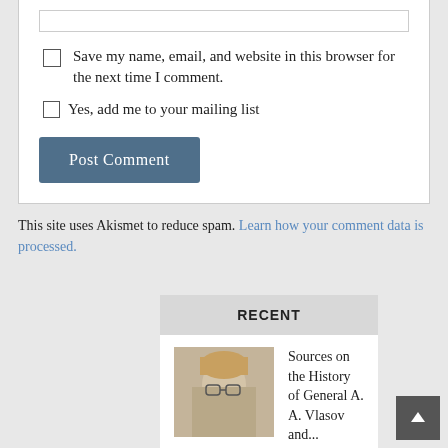Save my name, email, and website in this browser for the next time I comment.
Yes, add me to your mailing list
Post Comment
This site uses Akismet to reduce spam. Learn how your comment data is processed.
RECENT
Sources on the History of General A. A. Vlasov and...
07/15/2022
On the Question of